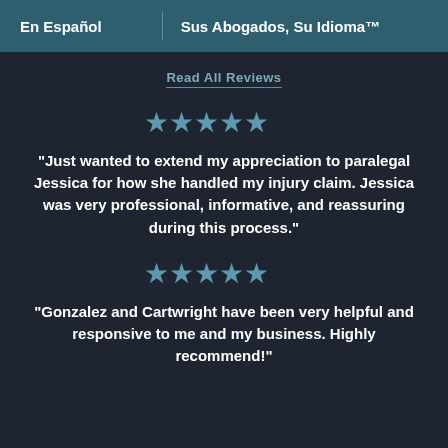En Español | Sus Abogados, Su Idioma™
Read All Reviews
[Figure (other): Five blue stars rating]
"Just wanted to extend my appreciation to paralegal Jessica for how she handled my injury claim. Jessica was very professional, informative, and reassuring during this process."
[Figure (other): Five blue stars rating]
"Gonzalez and Cartwright have been very helpful and responsive to me and my business. Highly recommend!"